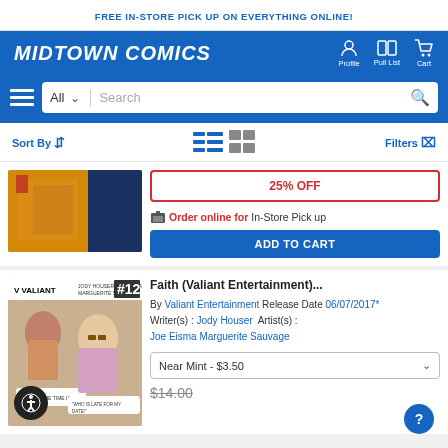FREE IN-STORE PICK UP ON EVERYTHING ONLINE!
[Figure (logo): Midtown Comics logo with navigation icons for Profile, Pull List, and Cart]
[Figure (screenshot): Search bar with All category dropdown and search input]
Sort By  |  View icons  |  Filters
[Figure (photo): Comic book cover image - top product, partially visible]
25% OFF
Order online for In-Store Pick up
ADD TO CART
[Figure (photo): Valiant Faith #12 comic book cover]
Faith (Valiant Entertainment)...
By Valiant Entertainment Release Date 06/07/2017* Writer(s) : Jody Houser Artist(s) : Joe Eisma Marguerite Sauvage
Near Mint - $3.50
$14.00